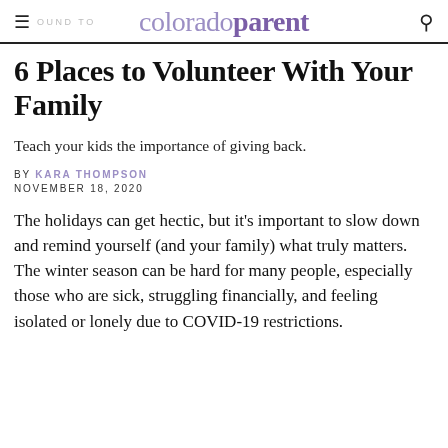colorado parent
6 Places to Volunteer With Your Family
Teach your kids the importance of giving back.
BY KARA THOMPSON
NOVEMBER 18, 2020
The holidays can get hectic, but it's important to slow down and remind yourself (and your family) what truly matters. The winter season can be hard for many people, especially those who are sick, struggling financially, and feeling isolated or lonely due to COVID-19 restrictions.